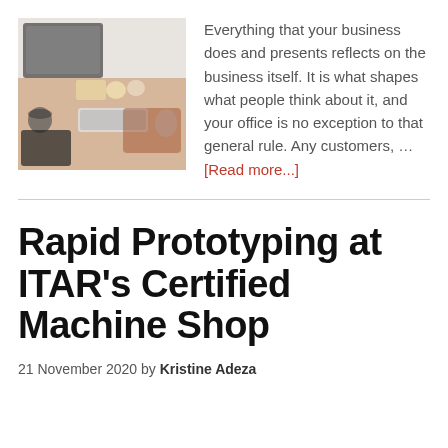[Figure (photo): Overhead view of a desk with keyboard, mouse, coffee cup, and office items]
Everything that your business does and presents reflects on the business itself. It is what shapes what people think about it, and your office is no exception to that general rule. Any customers, … [Read more...]
Rapid Prototyping at ITAR's Certified Machine Shop
21 November 2020 by Kristine Adeza